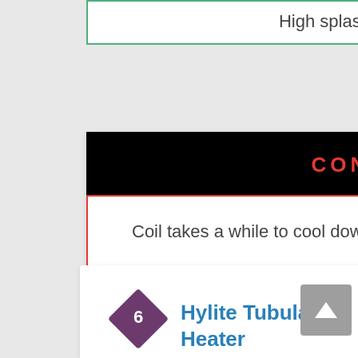High splash rating
CONS
Coil takes a while to cool down
Hylite Tubular Heater